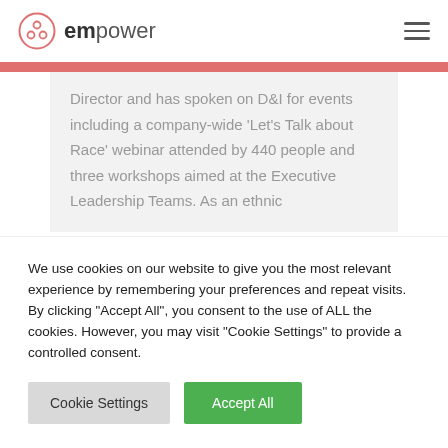empower
Director and has spoken on D&I for events including a company-wide 'Let's Talk about Race' webinar attended by 440 people and three workshops aimed at the Executive Leadership Teams. As an ethnic
We use cookies on our website to give you the most relevant experience by remembering your preferences and repeat visits. By clicking "Accept All", you consent to the use of ALL the cookies. However, you may visit "Cookie Settings" to provide a controlled consent.
Cookie Settings
Accept All